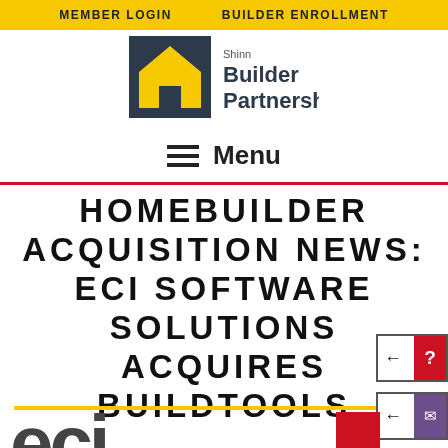MEMBER LOGIN   BUILDER ENROLLMENT
[Figure (logo): Shinn Builder Partnerships logo with house icon in dark blue and yellow]
≡ Menu
HOMEBUILDER ACQUISITION NEWS: ECI SOFTWARE SOLUTIONS ACQUIRES BUILDTOOLS
[Figure (logo): ECI logo - large dark grey letters 'eci' with red square accent]